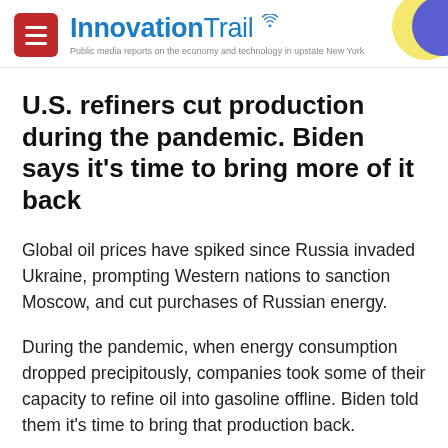InnovationTrail — Public media reports on the economy and technology in upstate New York
U.S. refiners cut production during the pandemic. Biden says it's time to bring more of it back
Global oil prices have spiked since Russia invaded Ukraine, prompting Western nations to sanction Moscow, and cut purchases of Russian energy.
During the pandemic, when energy consumption dropped precipitously, companies took some of their capacity to refine oil into gasoline offline. Biden told them it's time to bring that production back.